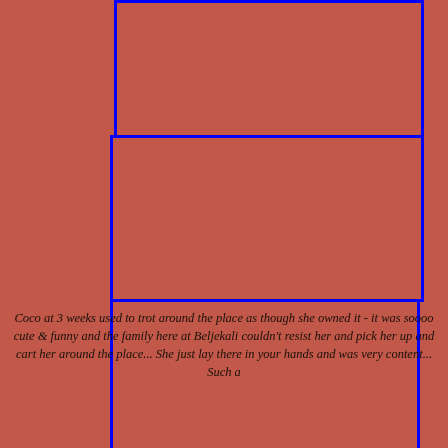[Figure (photo): First photo placeholder box with blue border, reddish-brown background, upper portion of stacked image layout]
[Figure (photo): Second photo placeholder box with blue border, reddish-brown background, middle of stacked image layout]
[Figure (photo): Third photo placeholder box with blue border, reddish-brown background, lower portion of stacked image layout]
Coco at 3 weeks used to trot around the place as though she owned it - it was soooo cute & funny and the family here at Beljekali couldn't resist her and pick her up and cart her around the place... She just lay there in your hands and was very content... Such a